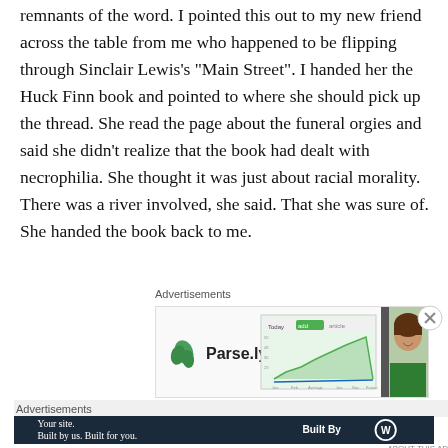remnants of the word. I pointed this out to my new friend across the table from me who happened to be flipping through Sinclair Lewis's “Main Street”. I handed her the Huck Finn book and pointed to where she should pick up the thread. She read the page about the funeral orgies and said she didn’t realize that the book had dealt with necrophilia. She thought it was just about racial morality. There was a river involved, she said. That she was sure of. She handed the book back to me.
Advertisements
[Figure (screenshot): Parse.ly advertisement showing logo with green leaf icon and a dashboard screenshot with a smiling woman]
Advertisements
[Figure (infographic): Dark navy banner ad: 'Your site. Built by us. Built for you.' with Built By WordPress logo on right]